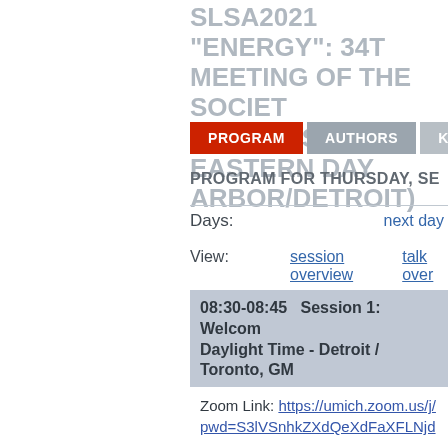SLSA2021 "ENERGY": 34TH ANNUAL MEETING OF THE SOCIETY FOR LITERATURE, SCIENCE, AND THE ARTS, EASTERN DAYLIGHT TIME (ANN ARBOR/DETROIT)
PROGRAM | AUTHORS | KEYWORDS
PROGRAM FOR THURSDAY, SEPTEMBER 16, 2021
Days:
next day
View:    session overview    talk overview
08:30-08:45    Session 1: Welcome... Daylight Time - Detroit / Toronto, GMT-4
Zoom Link: https://umich.zoom.us/j/... pwd=S3lVSnhkZXdQeXdFaXFLNjd...
Anyone joining an SLSA2021 Uni... the Zoom desktop app or mobile ... higher: 5.7.0.
Conference Registration and SLS...